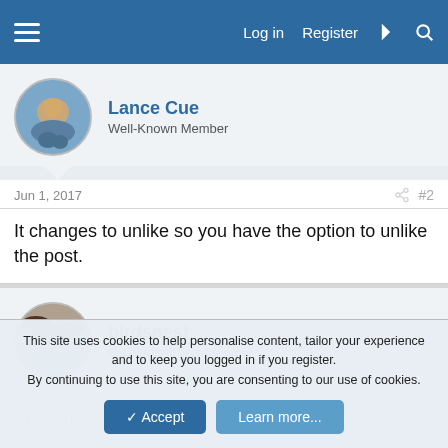Log in  Register
Lance Cue
Well-Known Member
Jun 1, 2017  #2
It changes to unlike so you have the option to unlike the post.
birdsnest
Escalante-Class Member
Jun 2, 2017  #3
So when it changes to unlike does that mean I have chosen like
This site uses cookies to help personalise content, tailor your experience and to keep you logged in if you register.
By continuing to use this site, you are consenting to our use of cookies.